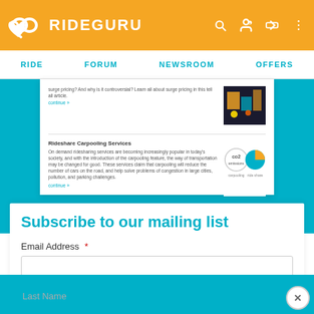RIDEGURU
RIDE  FORUM  NEWSROOM  OFFERS
[Figure (screenshot): Partial view of RideGuru newsroom article cards showing Rideshare Carpooling Services article with thumbnail images]
Subscribe to our mailing list
Email Address *
First Name
Last Name